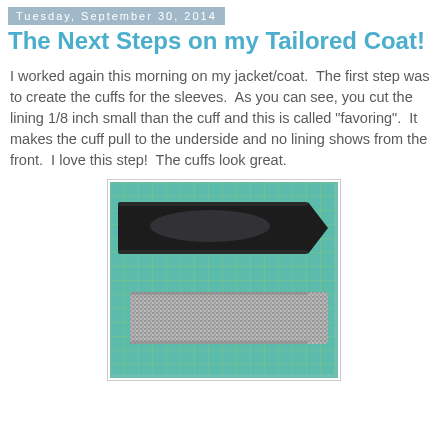Tuesday, September 30, 2014
The Next Steps on my Tailored Coat!
I worked again this morning on my jacket/coat.  The first step was to create the cuffs for the sleeves.  As you can see, you cut the lining 1/8 inch small than the cuff and this is called "favoring".  It makes the cuff pull to the underside and no lining shows from the front.  I love this step!  The cuffs look great.
[Figure (photo): Two coat cuffs laid flat on a teal cutting mat with grid lines. The top cuff is black satin/lining material. The bottom cuff is a black and white tweed/patterned fabric. Both cuffs have a pointed end on the right side.]